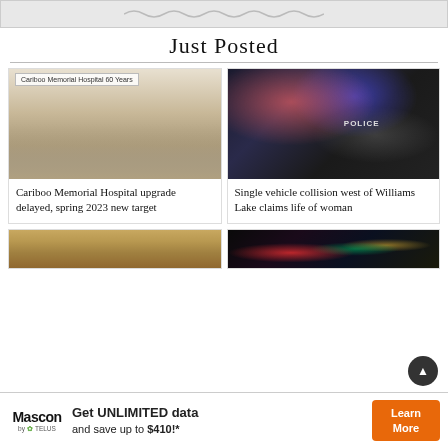[Figure (photo): Top banner placeholder image with decorative pattern]
Just Posted
[Figure (photo): Man presenting Cariboo Memorial Hospital 60 Years display with architectural rendering]
Cariboo Memorial Hospital upgrade delayed, spring 2023 new target
[Figure (photo): Police car with flashing red and blue lights at night]
Single vehicle collision west of Williams Lake claims life of woman
[Figure (photo): Dry grass or straw texture]
[Figure (photo): Dark background with colored lights]
[Figure (infographic): Mascon by TELUS advertisement: Get UNLIMITED data and save up to $410!* Learn More]